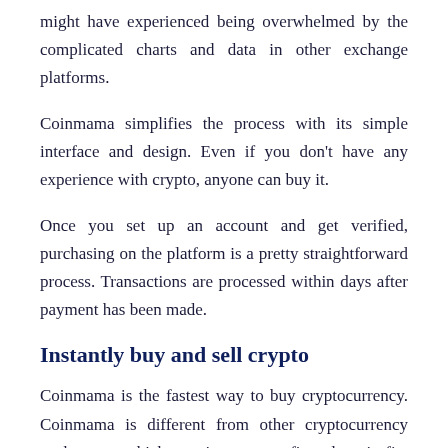might have experienced being overwhelmed by the complicated charts and data in other exchange platforms.
Coinmama simplifies the process with its simple interface and design. Even if you don't have any experience with crypto, anyone can buy it.
Once you set up an account and get verified, purchasing on the platform is a pretty straightforward process. Transactions are processed within days after payment has been made.
Instantly buy and sell crypto
Coinmama is the fastest way to buy cryptocurrency. Coinmama is different from other cryptocurrency exchanges, which require you to first deposit fiat currency before you can purchase crypto. You can choose the crypto you wish and then pay at checkout just like any other online shopping experience. Once you have